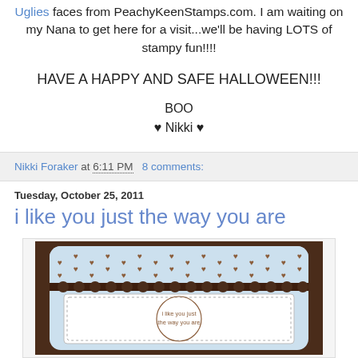Uglies faces from PeachyKeenStamps.com. I am waiting on my Nana to get here for a visit...we'll be having LOTS of stampy fun!!!!
HAVE A HAPPY AND SAFE HALLOWEEN!!!
BOO
♥ Nikki ♥
Nikki Foraker at 6:11 PM   8 comments:
Tuesday, October 25, 2011
i like you just the way you are
[Figure (photo): A handmade greeting card on a brown background. The card has a light blue top section with brown heart pattern and scalloped edge, and a white lower section with a circular stamped text reading 'i like you just the way you are'.]